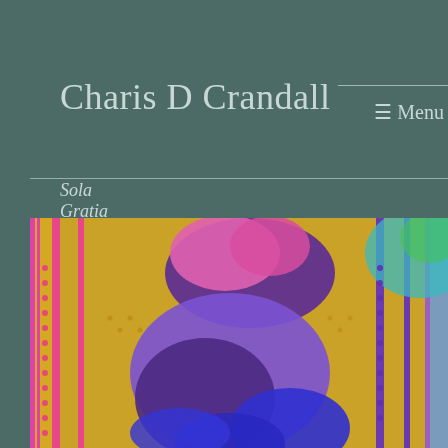Charis D Crandall
Sola Gratia
☰ Menu
[Figure (photo): Close-up photograph of colorful woven textile fabric with purple, pink, blue, and gold star/flower patterns on a golden background]